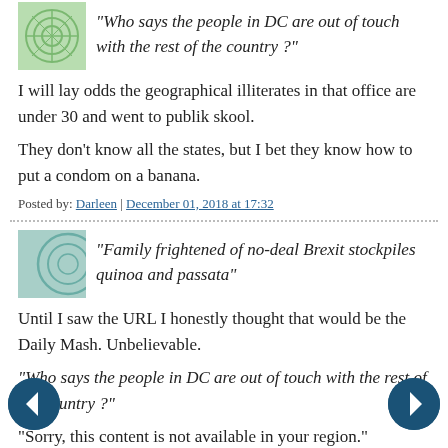“Who says the people in DC are out of touch with the rest of the country ?”
I will lay odds the geographical illiterates in that office are under 30 and went to publik skool.
They don't know all the states, but I bet they know how to put a condom on a banana.
Posted by: Darleen | December 01, 2018 at 17:32
“Family frightened of no-deal Brexit stockpiles quinoa and passata”
Until I saw the URL I honestly thought that would be the Daily Mash. Unbelievable.
“Who says the people in DC are out of touch with the rest of the country ?”
“Sorry, this content is not available in your region.”